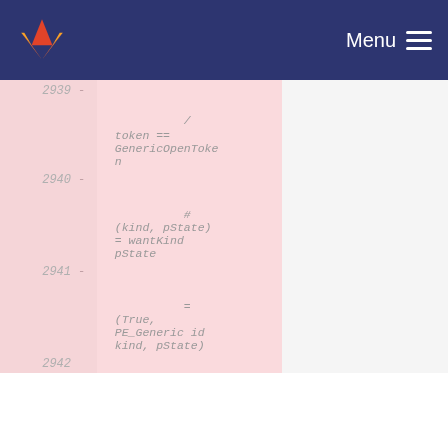GitLab Menu
Code diff showing deleted lines 2939-2942 with code: / token == GenericOpenToken, # (kind, pState) = wantKind pState, = (True, PE_Generic id kind, pState)